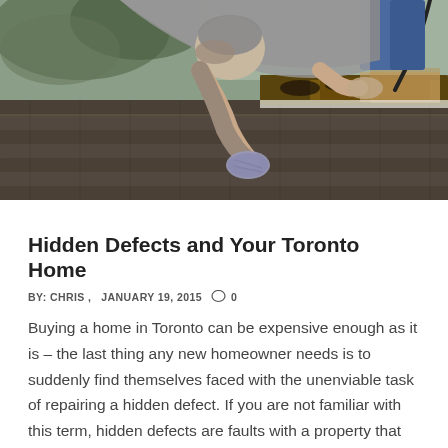[Figure (photo): A man leaning over a roof edge, wearing gloves, inspecting or repairing damaged roof shingles and fascia. A power tool cord is visible. Tree branches in background.]
Hidden Defects and Your Toronto Home
BY: CHRIS ,  JANUARY 19, 2015  ○ 0
Buying a home in Toronto can be expensive enough as it is – the last thing any new homeowner needs is to suddenly find themselves faced with the unenviable task of repairing a hidden defect. If you are not familiar with this term, hidden defects are faults with a property that cannot be seen through regular visual